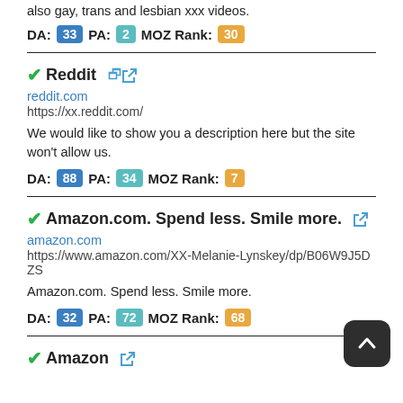also gay, trans and lesbian xxx videos.
DA: 33  PA: 2  MOZ Rank: 30
✓Reddit 🔗
reddit.com
https://xx.reddit.com/
We would like to show you a description here but the site won't allow us.
DA: 88  PA: 34  MOZ Rank: 7
✓Amazon.com. Spend less. Smile more. 🔗
amazon.com
https://www.amazon.com/XX-Melanie-Lynskey/dp/B06W9J5DZS
Amazon.com. Spend less. Smile more.
DA: 32  PA: 72  MOZ Rank: 68
✓Amazon 🔗